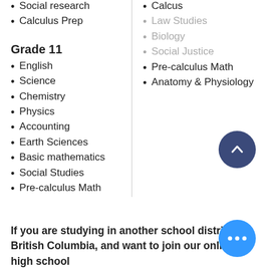Social research
Calculus Prep
Grade 11
English
Science
Chemistry
Physics
Accounting
Earth Sciences
Basic mathematics
Social Studies
Pre-calculus Math
Calcus
Law Studies
Biology
Social Justice
Pre-calculus Math
Anatomy & Physiology
If you are studying in another school district in British Columbia, and want to join our online high school